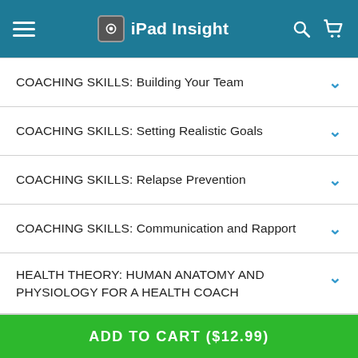iPad Insight
COACHING SKILLS: Building Your Team
COACHING SKILLS: Setting Realistic Goals
COACHING SKILLS: Relapse Prevention
COACHING SKILLS: Communication and Rapport
HEALTH THEORY: HUMAN ANATOMY AND PHYSIOLOGY FOR A HEALTH COACH
HEALTH THEORY: BASIC NUTRITION AND…
ADD TO CART ($12.99)